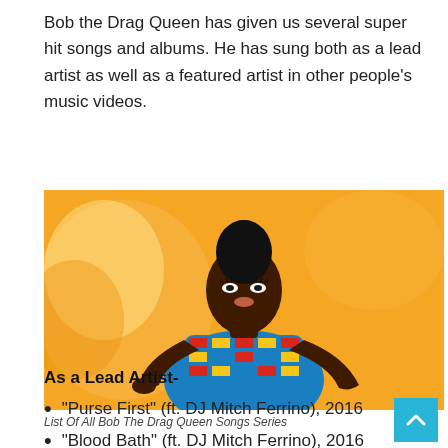Bob the Drag Queen has given us several super hit songs and albums. He has sung both as a lead artist as well as a featured artist in other people's music videos.
[Figure (photo): Photo of Bob the Drag Queen wearing a colorful African print outfit, posed against an orange floral background]
List Of All Bob The Drag Queen Songs Series
As a Lead Artist-
“Purse First” (ft. DJ Mitch Ferrino), 2016
“Blood Bath” (ft. DJ Mitch Ferrino), 2016